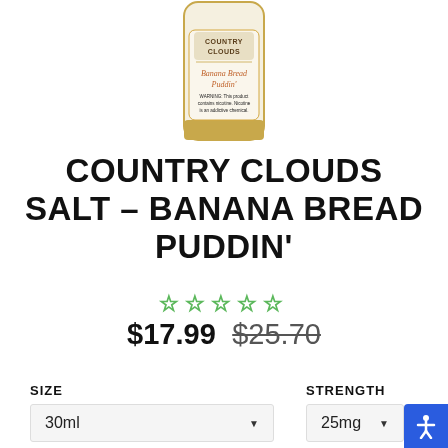[Figure (photo): Product photo of Country Clouds Banana Bread Puddin' salt nicotine e-liquid bottle, cream/gold colored label, partially cropped at top]
COUNTRY CLOUDS SALT – BANANA BREAD PUDDIN'
☆☆☆☆☆ (star rating, 0 of 5)
$17.99  $25.70
SIZE
30ml
STRENGTH
25mg